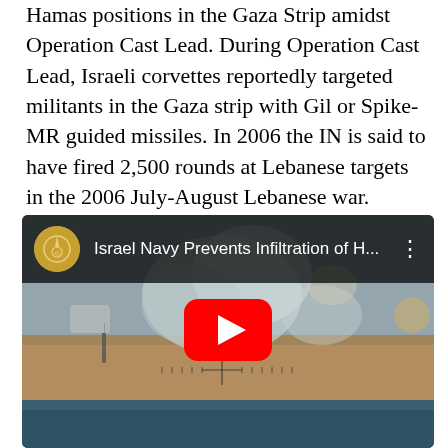Hamas positions in the Gaza Strip amidst Operation Cast Lead. During Operation Cast Lead, Israeli corvettes reportedly targeted militants in the Gaza strip with Gil or Spike-MR guided missiles. In 2006 the IN is said to have fired 2,500 rounds at Lebanese targets in the 2006 July-August Lebanese war.
[Figure (screenshot): YouTube video thumbnail showing 'Israel Navy Prevents Infiltration of H...' with a military/naval scene in the background, smoke visible, a targeting reticle, and a red YouTube play button overlaid. The Israeli Defense Forces logo appears as the channel avatar.]